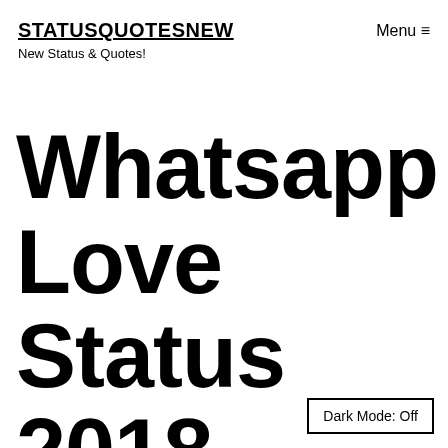STATUSQUOTESNEW
New Status & Quotes!
Menu ≡
Whatsapp Love Status 2018 (Best & New)
Dark Mode: Off